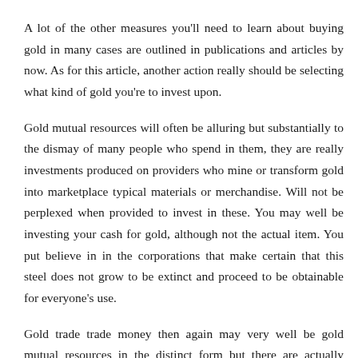A lot of the other measures you'll need to learn about buying gold in many cases are outlined in publications and articles by now. As for this article, another action really should be selecting what kind of gold you're to invest upon.
Gold mutual resources will often be alluring but substantially to the dismay of many people who spend in them, they are really investments produced on providers who mine or transform gold into marketplace typical materials or merchandise. Will not be perplexed when provided to invest in these. You may well be investing your cash for gold, although not the actual item. You put believe in in the corporations that make certain that this steel does not grow to be extinct and proceed to be obtainable for everyone's use.
Gold trade trade money then again may very well be gold mutual resources in the distinct form but there are actually particular ETF's